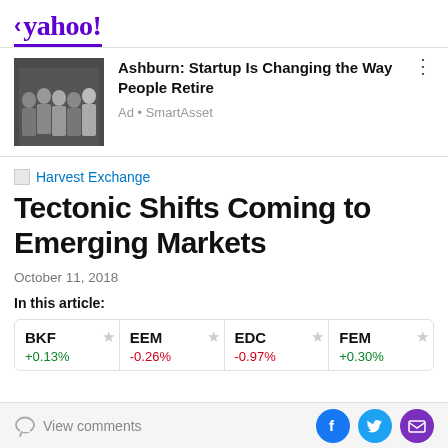< yahoo!
[Figure (photo): Group photo of people in dark t-shirts (SmartAsset ad image)]
Ashburn: Startup Is Changing the Way People Retire
Ad • SmartAsset
Harvest Exchange
Tectonic Shifts Coming to Emerging Markets
October 11, 2018
In this article:
| Symbol | Change |
| --- | --- |
| BKF | +0.13% |
| EEM | -0.26% |
| EDC | -0.97% |
| FEM | +0.30% |
View comments